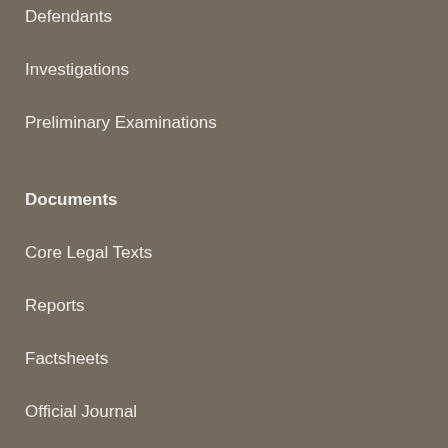Defendants
Investigations
Preliminary Examinations
Documents
Core Legal Texts
Reports
Factsheets
Official Journal
Administrative Issuances
Resource Library